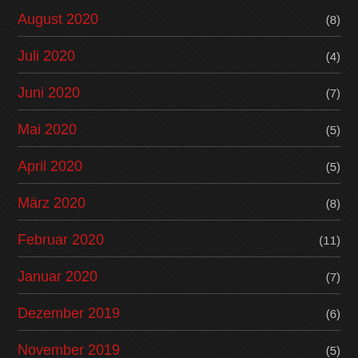August 2020 (8)
Juli 2020 (4)
Juni 2020 (7)
Mai 2020 (5)
April 2020 (5)
März 2020 (8)
Februar 2020 (11)
Januar 2020 (7)
Dezember 2019 (6)
November 2019 (5)